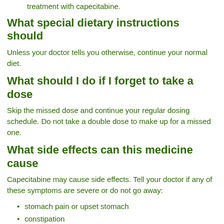treatment with capecitabine.
What special dietary instructions should
Unless your doctor tells you otherwise, continue your normal diet.
What should I do if I forget to take a dose
Skip the missed dose and continue your regular dosing schedule. Do not take a double dose to make up for a missed one.
What side effects can this medicine cause
Capecitabine may cause side effects. Tell your doctor if any of these symptoms are severe or do not go away:
stomach pain or upset stomach
constipation
loss of appetite
change in ability to taste food
increased thirst